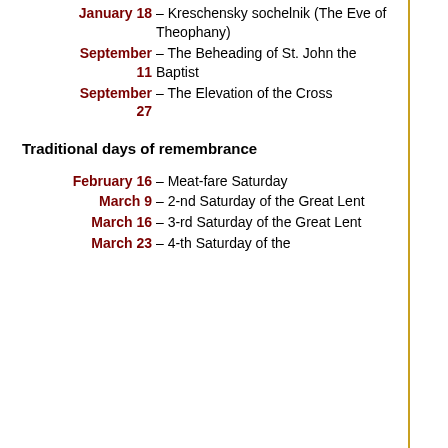January 18 – Kreschensky sochelnik (The Eve of Theophany)
September 11 – The Beheading of St. John the Baptist
September 27 – The Elevation of the Cross
Traditional days of remembrance
February 16 – Meat-fare Saturday
March 9 – 2-nd Saturday of the Great Lent
March 16 – 3-rd Saturday of the Great Lent
March 23 – 4-th Saturday of the